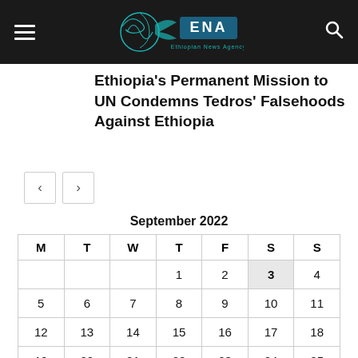ENA Ethiopian News Agency
Ethiopia's Permanent Mission to UN Condemns Tedros' Falsehoods Against Ethiopia
| M | T | W | T | F | S | S |
| --- | --- | --- | --- | --- | --- | --- |
|  |  |  | 1 | 2 | 3 | 4 |
| 5 | 6 | 7 | 8 | 9 | 10 | 11 |
| 12 | 13 | 14 | 15 | 16 | 17 | 18 |
| 19 | 20 | 21 | 22 | 23 | 24 | 25 |
| 26 | 27 | 28 | 29 | 30 |  |  |